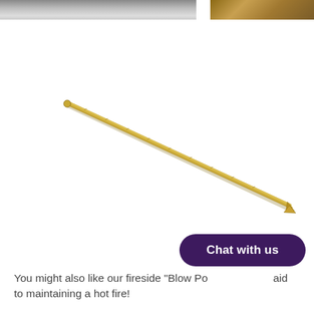[Figure (photo): Top strip showing partial photos: a black/white surface on the left and a brown wooden surface on the right]
[Figure (photo): A gold/brass colored fireplace poker or blow poker tool, diagonal orientation from upper-left to lower-right, with decorative ends]
You might also like our fireside "Blow Po... aid to maintaining a hot fire!